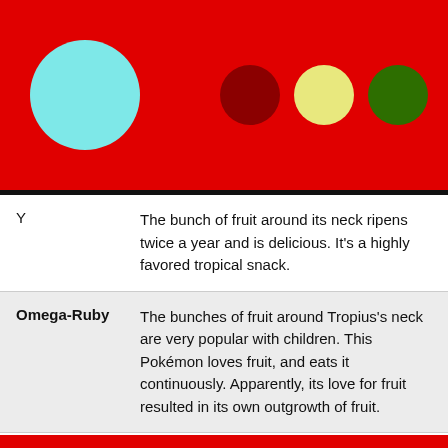[Figure (illustration): Red header banner with a large teal/cyan circle on the left and three colored circles (dark red, yellow, dark green) on the right]
| Game | Description |
| --- | --- |
| Y | The bunch of fruit around its neck ripens twice a year and is delicious. It's a highly favored tropical snack. |
| Omega-Ruby | The bunches of fruit around Tropius's neck are very popular with children. This Pokémon loves fruit, and eats it continuously. Apparently, its love for fruit resulted in its own outgrowth of fruit. |
| Alpha-Sapphire | Children of the southern tropics eat as snacks the fruit that grows in bunches around the neck of Tropius. This Pokémon flies by flapping the leaves on its back as if they were wings. |